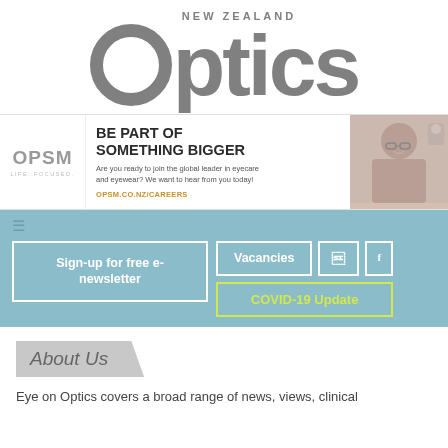NEW ZEALAND Optics
[Figure (advertisement): OPSM advertisement: logo on left, headline 'BE PART OF SOMETHING BIGGER', body text, URL opsm.co.nz/careers, photo of smiling woman with glasses on right]
Sign-up for free e-newsletter
Vacancies
COVID-19 Update
About Us
Eye on Optics covers a broad range of news, views, clinical